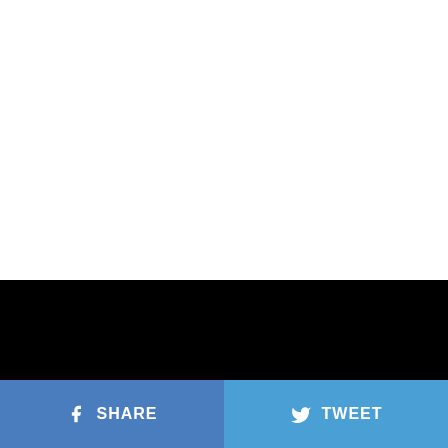[Figure (screenshot): White blank space at top of page]
[Figure (screenshot): RedCircle podcast player UI on black background showing playlist with 1642 episodes and episode DWI Podcast #338: The Stranded dated August 27, 2022, 1 hr 9 min. Includes The Chairshot Always logo circle on left.]
RedCircle
PLAYLIST (1642 EPISODES)
August, 27, 2022, 1 hr 9 min
DWI Podcast #338: The Stranded
SHARE
TWEET